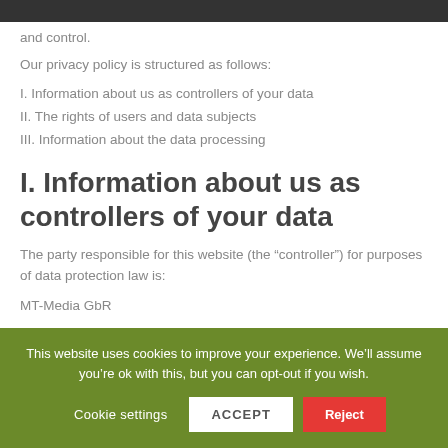and control.
Our privacy policy is structured as follows:
I. Information about us as controllers of your data
II. The rights of users and data subjects
III. Information about the data processing
I. Information about us as controllers of your data
The party responsible for this website (the “controller”) for purposes of data protection law is:
MT-Media GbR
This website uses cookies to improve your experience. We’ll assume you’re ok with this, but you can opt-out if you wish.